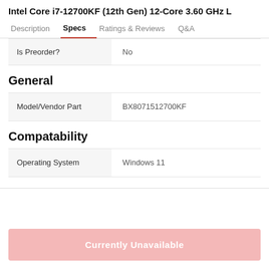Intel Core i7-12700KF (12th Gen) 12-Core 3.60 GHz L
Description | Specs | Ratings & Reviews | Q&A
|  |  |
| --- | --- |
| Is Preorder? | No |
General
|  |  |
| --- | --- |
| Model/Vendor Part | BX8071512700KF |
Compatability
|  |  |
| --- | --- |
| Operating System | Windows 11 |
Currently Unavailable